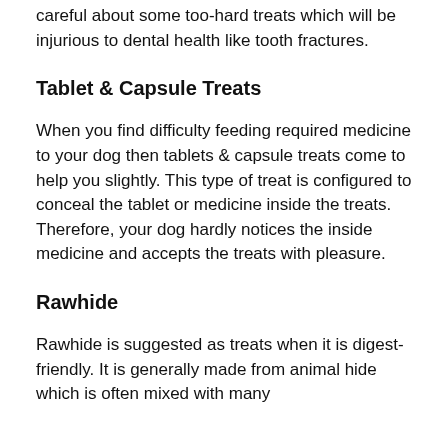careful about some too-hard treats which will be injurious to dental health like tooth fractures.
Tablet & Capsule Treats
When you find difficulty feeding required medicine to your dog then tablets & capsule treats come to help you slightly. This type of treat is configured to conceal the tablet or medicine inside the treats. Therefore, your dog hardly notices the inside medicine and accepts the treats with pleasure.
Rawhide
Rawhide is suggested as treats when it is digest-friendly. It is generally made from animal hide which is often mixed with many